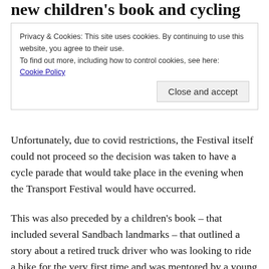new children's book and cycling
Privacy & Cookies: This site uses cookies. By continuing to use this website, you agree to their use.
To find out more, including how to control cookies, see here:
Cookie Policy
Close and accept
Unfortunately, due to covid restrictions, the Festival itself could not proceed so the decision was taken to have a cycle parade that would take place in the evening when the Transport Festival would have occurred.
This was also preceded by a children's book – that included several Sandbach landmarks – that outlined a story about a retired truck driver who was looking to ride a bike for the very first time and was mentored by a young…